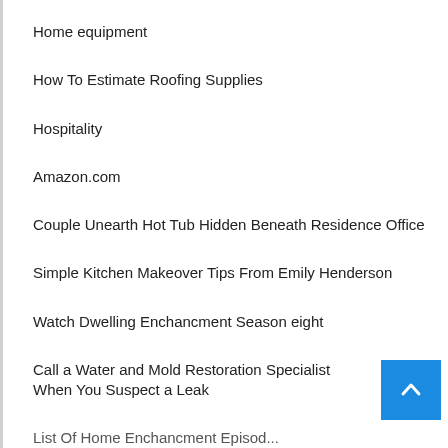Home equipment
How To Estimate Roofing Supplies
Hospitality
Amazon.com
Couple Unearth Hot Tub Hidden Beneath Residence Office
Simple Kitchen Makeover Tips From Emily Henderson
Watch Dwelling Enchancment Season eight
Call a Water and Mold Restoration Specialist When You Suspect a Leak
List Of Home Enchancment Episodes